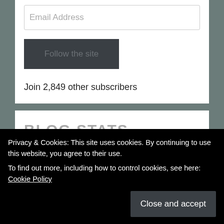Email Address
Follow the site
Join 2,849 other subscribers
BLOG STATS
123,495 hits
Privacy & Cookies: This site uses cookies. By continuing to use this website, you agree to their use.
To find out more, including how to control cookies, see here: Cookie Policy
Close and accept